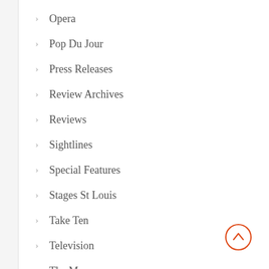Opera
Pop Du Jour
Press Releases
Review Archives
Reviews
Sightlines
Special Features
Stages St Louis
Take Ten
Television
The Muny